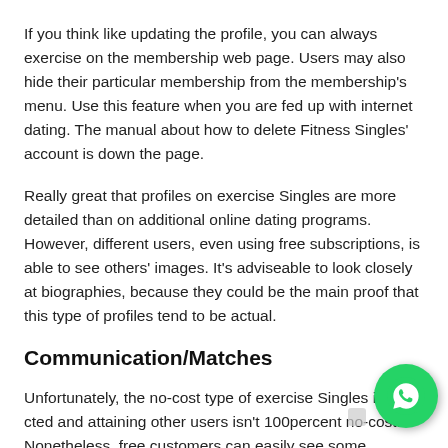If you think like updating the profile, you can always exercise on the membership web page. Users may also hide their particular membership from the membership's menu. Use this feature when you are fed up with internet dating. The manual about how to delete Fitness Singles' account is down the page.
Really great that profiles on exercise Singles are more detailed than on additional online dating programs. However, different users, even using free subscriptions, is able to see others' images. It's adviseable to look closely at biographies, because they could be the main proof that this type of profiles tend to be actual.
Communication/Matches
Unfortunately, the no-cost type of exercise Singles is restricted and attaining other users isn't 100percent no-cost. Nonetheless, free customers can easily see some people's users and images.